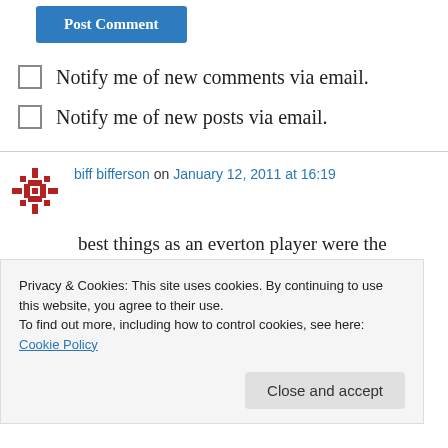Post Comment
Notify me of new comments via email.
Notify me of new posts via email.
biff bifferson on January 12, 2011 at 16:19
best things as an everton player were the 'scoops'. also joe worral denied him an DEFINITE penalty at anfield. the turd. a fine player
Privacy & Cookies: This site uses cookies. By continuing to use this website, you agree to their use. To find out more, including how to control cookies, see here: Cookie Policy
Close and accept